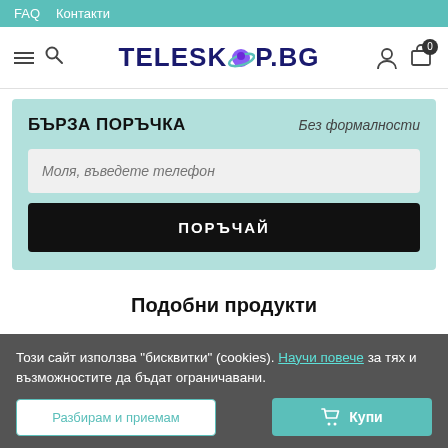FAQ  Контакти
[Figure (logo): TELESKOP.BG logo with planet graphic, hamburger menu and search icon on left, user and cart icons on right]
БЪРЗА ПОРЪЧКА
Без формалности
Моля, въведете телефон
ПОРЪЧАЙ
Подобни продукти
Този сайт използва "бисквитки" (cookies). Научи повече за тях и възможностите да бъдат ограничавани.
Разбирам и приемам
Купи